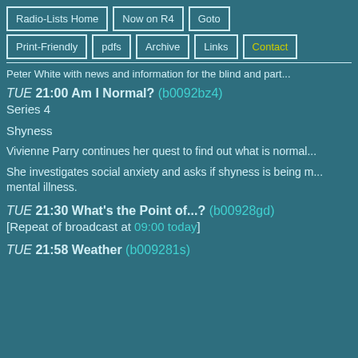Radio-Lists Home | Now on R4 | Goto | Print-Friendly | pdfs | Archive | Links | Contact
Peter White with news and information for the blind and part...
TUE 21:00 Am I Normal? (b0092bz4)
Series 4
Shyness
Vivienne Parry continues her quest to find out what is normal...
She investigates social anxiety and asks if shyness is being m... mental illness.
TUE 21:30 What's the Point of...? (b00928gd)
[Repeat of broadcast at 09:00 today]
TUE 21:58 Weather (b009281s)